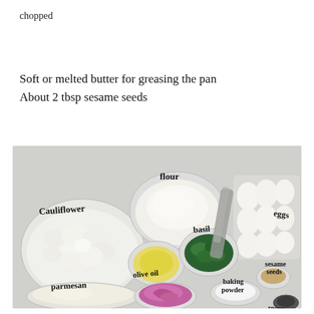chopped
Soft or melted butter for greasing the pan
About 2 tbsp sesame seeds
[Figure (photo): Flat-lay photo of recipe ingredients on a light grey surface: a bowl of cauliflower florets labeled 'Cauliflower', a glass bowl of flour labeled 'Flour', a carton of eggs labeled 'eggs', a small bowl of olive oil labeled 'olive oil', a bowl of basil leaves labeled 'basil', a flat plate of parmesan labeled 'parmesan', a bowl of chopped red onion, a bowl of baking powder labeled 'baking powder', a small bowl of sesame seeds labeled 'sesame seeds', and a small dark bowl labeled 'rosemary'.]